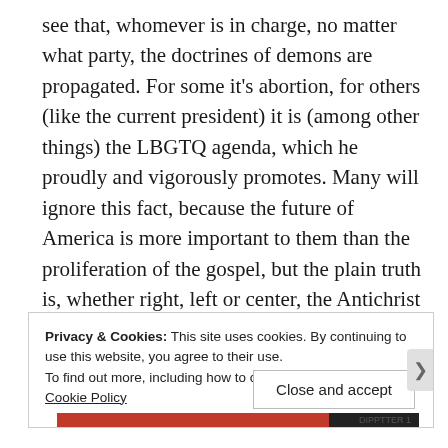see that, whomever is in charge, no matter what party, the doctrines of demons are propagated. For some it's abortion, for others (like the current president) it is (among other things) the LBGTQ agenda, which he proudly and vigorously promotes. Many will ignore this fact, because the future of America is more important to them than the proliferation of the gospel, but the plain truth is, whether right, left or center, the Antichrist agenda is moving forward, and nothing can stop it. IT IS WRITTEN. His kingdom is not of this world. . ..
Privacy & Cookies: This site uses cookies. By continuing to use this website, you agree to their use. To find out more, including how to control cookies, see here: Cookie Policy